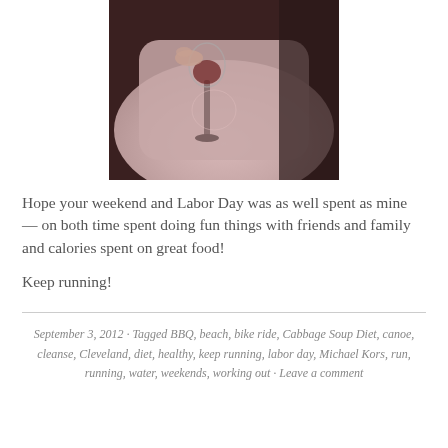[Figure (photo): Close-up photo of a person holding a wine glass, wearing a light pink/mauve outfit, dark background]
Hope your weekend and Labor Day was as well spent as mine — on both time spent doing fun things with friends and family and calories spent on great food!
Keep running!
September 3, 2012 · Tagged BBQ, beach, bike ride, Cabbage Soup Diet, canoe, cleanse, Cleveland, diet, healthy, keep running, labor day, Michael Kors, run, running, water, weekends, working out · Leave a comment